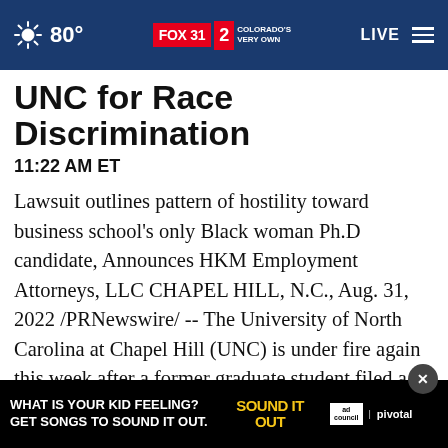80° | FOX 31 | COLORADO'S VERY OWN | LIVE
UNC for Race Discrimination
11:22 AM ET
Lawsuit outlines pattern of hostility toward business school's only Black woman Ph.D candidate, Announces HKM Employment Attorneys, LLC CHAPEL HILL, N.C., Aug. 31, 2022 /PRNewswire/ -- The University of North Carolina at Chapel Hill (UNC) is under fire again this week after a former graduate student filed a federal lawsuit against the university for racial discrimination and retaliation at the university's Kenan-Flagler Business School (KFBS). Rose Brown, whose attorneys filed t
[Figure (screenshot): Advertisement overlay at bottom: black background with text 'WHAT IS YOUR KID FEELING? GET SONGS TO SOUND IT OUT.' with 'SOUND IT OUT' in yellow, Ad Council and Pivotal logos, and a close (X) button]